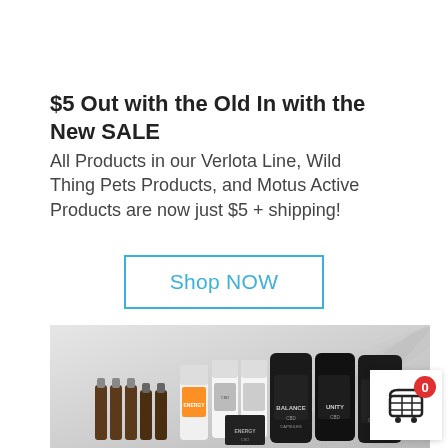$5 Out with the Old In with the New SALE
All Products in our Verlota Line, Wild Thing Pets Products, and Motus Active Products are now just $5 + shipping!
Shop NOW
[Figure (photo): A collection of CBD products including bottles, tinctures, and capsule containers from the Verlota, Balance, Unity, and Energy product lines, displayed on a light gray background with a subtle palm leaf shadow.]
[Figure (infographic): Shopping cart icon with a red circular badge showing the number 0, indicating empty cart.]